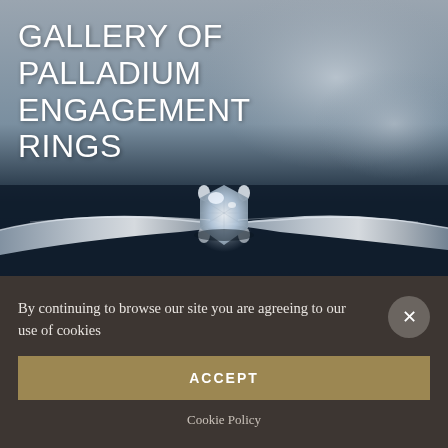[Figure (photo): Close-up photo of a solitaire diamond engagement ring with a round brilliant-cut diamond in a four-prong setting on a silver/palladium band, placed on a dark navy blue surface with a blurred grey background.]
GALLERY OF PALLADIUM ENGAGEMENT RINGS
By continuing to browse our site you are agreeing to our use of cookies
ACCEPT
Cookie Policy